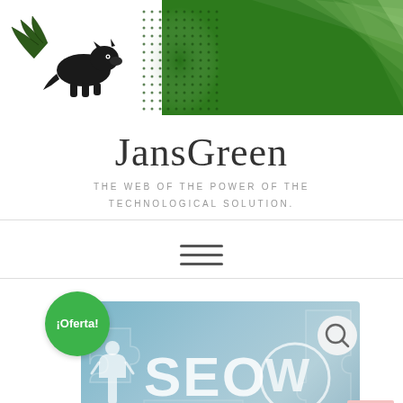[Figure (logo): JansGreen website header with green banner, animal logo (winged panther/leopard) on left, dot pattern matrix, and diagonal light rays on green background]
JansGreen
THE WEB OF THE POWER OF THE TECHNOLOGICAL SOLUTION.
[Figure (other): Hamburger/navigation menu icon with three horizontal lines]
[Figure (illustration): SEO WordPress puzzle piece image with ¡Oferta! green badge, search icon button, text SEO with WordPress logo W, puzzle pieces background in blue-grey, and TOP button at bottom right]